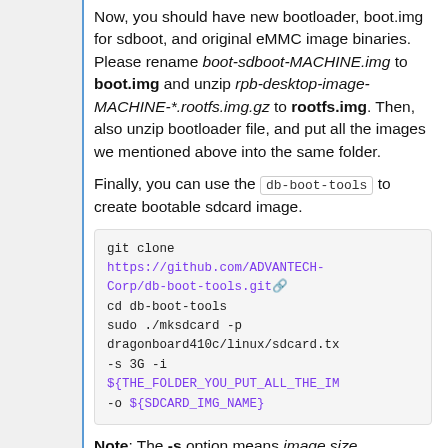Now, you should have new bootloader, boot.img for sdboot, and original eMMC image binaries. Please rename boot-sdboot-MACHINE.img to boot.img and unzip rpb-desktop-image-MACHINE-*.rootfs.img.gz to rootfs.img. Then, also unzip bootloader file, and put all the images we mentioned above into the same folder.
Finally, you can use the db-boot-tools to create bootable sdcard image.
git clone https://github.com/ADVANTECH-Corp/db-boot-tools.git
cd db-boot-tools
sudo ./mksdcard -p dragonboard410c/linux/sdcard.tx
-s 3G -i
${THE_FOLDER_YOU_PUT_ALL_THE_IM
-o ${SDCARD_IMG_NAME}
Note: The -s option means image size.